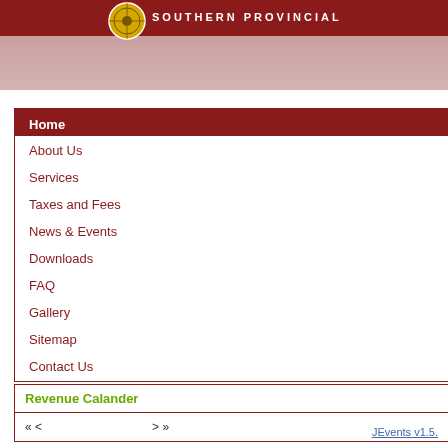SOUTHERN PROVINCIAL
Home
About Us
Services
Taxes and Fees
News & Events
Downloads
FAQ
Gallery
Sitemap
Contact Us
Revenue Calander
« < > »
Home
Events Calendar
[Figure (other): Small calendar grid icon for year 2006]
See by year   See by month   See by
Events for the
Frida
JEvents v1.5.